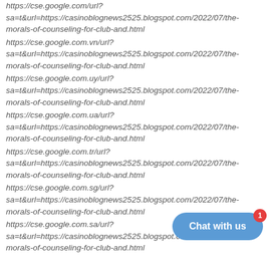https://cse.google.com/url?sa=t&url=https://casinoblognews2525.blogspot.com/2022/07/the-morals-of-counseling-for-club-and.html
https://cse.google.com.vn/url?sa=t&url=https://casinoblognews2525.blogspot.com/2022/07/the-morals-of-counseling-for-club-and.html
https://cse.google.com.uy/url?sa=t&url=https://casinoblognews2525.blogspot.com/2022/07/the-morals-of-counseling-for-club-and.html
https://cse.google.com.ua/url?sa=t&url=https://casinoblognews2525.blogspot.com/2022/07/the-morals-of-counseling-for-club-and.html
https://cse.google.com.tr/url?sa=t&url=https://casinoblognews2525.blogspot.com/2022/07/the-morals-of-counseling-for-club-and.html
https://cse.google.com.sg/url?sa=t&url=https://casinoblognews2525.blogspot.com/2022/07/the-morals-of-counseling-for-club-and.html
https://cse.google.com.sa/url?sa=t&url=https://casinoblognews2525.blogspot.com/2022/07/the-morals-of-counseling-for-club-and.html
[Figure (other): Chat with us button with notification badge showing 1]